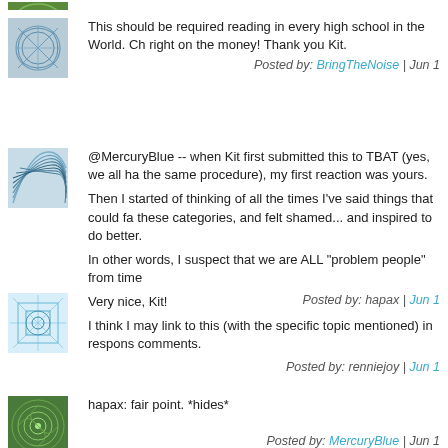[Figure (illustration): Top cropped avatar image, green spiral pattern, partially visible]
This should be required reading in every high school in the World. Ch right on the money! Thank you Kit.
Posted by: BringTheNoise | Jun 1
[Figure (illustration): Avatar with blue curved lines pattern on grey background]
@MercuryBlue -- when Kit first submitted this to TBAT (yes, we all ha the same procedure), my first reaction was yours.

Then I started of thinking of all the times I've said things that could fa these categories, and felt shamed... and inspired to do better.

In other words, I suspect that we are ALL "problem people" from time
Posted by: hapax | Jun 1
[Figure (illustration): Avatar with blue geometric line pattern on light blue background]
Very nice, Kit!

I think I may link to this (with the specific topic mentioned) in respons comments.
Posted by: renniejoy | Jun 1
[Figure (illustration): Avatar with green spiral/circular pattern]
hapax: fair point. *hides*
Posted by: MercuryBlue | Jun 1